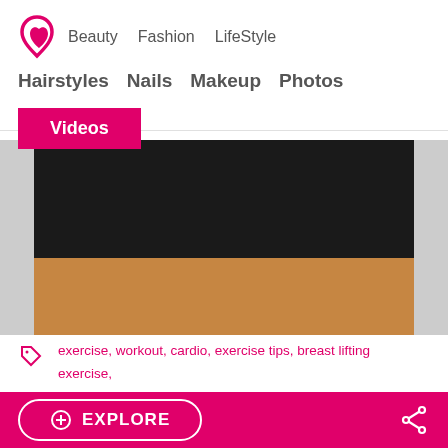Beauty  Fashion  LifeStyle  Hairstyles  Nails  Makeup  Photos
Videos
[Figure (photo): Photo showing a person wearing a black sports bra/crop top, with skin visible below at the waist.]
exercise, workout, cardio, exercise tips, breast lifting exercise, breast lifting workout, breast lifting, saggy breast remedies, saggy breast exercise, saggy breasts, chest exercise, exercise review
EXPLORE